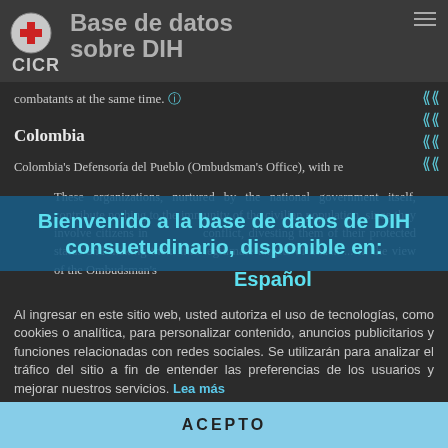Base de datos sobre DIH — CICR
combatants at the same time.
Colombia
Colombia's Defensoría del Pueblo (Ombudsman's Office), with re…
These organizations, nurtured by the national government itself, contribute nothing to the immunity of the civilian population, since they involve citizens in armed conflict, divesting them of their protected status and making them into legitimate targets of attack ... In the view of the Ombudsman's
Bienvenido a la base de datos de DIH consuetudinario, disponible en:
Español
Al ingresar en este sitio web, usted autoriza el uso de tecnologías, como cookies o analítica, para personalizar contenido, anuncios publicitarios y funciones relacionadas con redes sociales. Se utilizarán para analizar el tráfico del sitio a fin de entender las preferencias de los usuarios y mejorar nuestros servicios. Lea más
ACEPTO